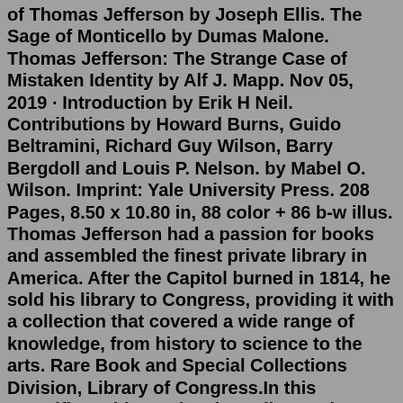of Thomas Jefferson by Joseph Ellis. The Sage of Monticello by Dumas Malone. Thomas Jefferson: The Strange Case of Mistaken Identity by Alf J. Mapp. Nov 05, 2019 · Introduction by Erik H Neil. Contributions by Howard Burns, Guido Beltramini, Richard Guy Wilson, Barry Bergdoll and Louis P. Nelson. by Mabel O. Wilson. Imprint: Yale University Press. 208 Pages, 8.50 x 10.80 in, 88 color + 86 b-w illus. Thomas Jefferson had a passion for books and assembled the finest private library in America. After the Capitol burned in 1814, he sold his library to Congress, providing it with a collection that covered a wide range of knowledge, from history to science to the arts. Rare Book and Special Collections Division, Library of Congress.In this magnificent biography, the Pulitzer Prize-winning author of American Lion and Franklin and Winston brings vividly to life an extraordinary man and his remarkable times. Thomas Jefferson: The Art of Power gives us Jefferson the politician and president, a great and complex human being forever engaged in the wars of